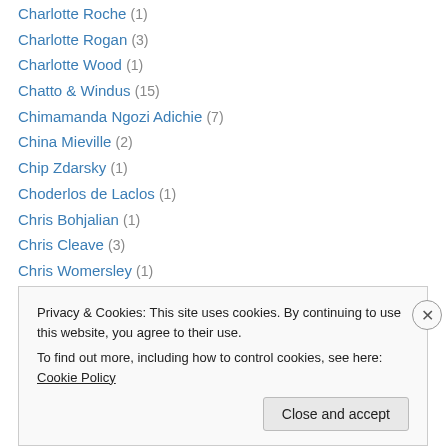Charlotte Roche (1)
Charlotte Rogan (3)
Charlotte Wood (1)
Chatto & Windus (15)
Chimamanda Ngozi Adichie (7)
China Mieville (2)
Chip Zdarsky (1)
Choderlos de Laclos (1)
Chris Bohjalian (1)
Chris Cleave (3)
Chris Womersley (1)
Christopher Isherwood (2)
Christos Tsiolkas (3)
Privacy & Cookies: This site uses cookies. By continuing to use this website, you agree to their use.
To find out more, including how to control cookies, see here: Cookie Policy